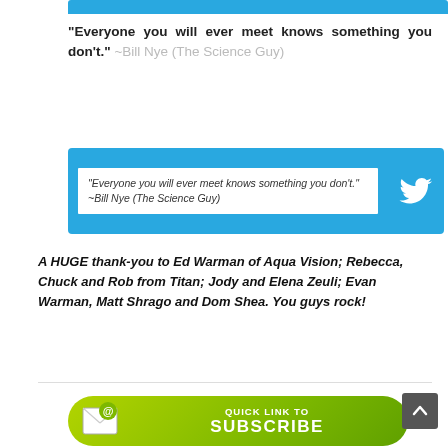“Everyone you will ever meet knows something you don’t.” ~Bill Nye (The Science Guy)
[Figure (screenshot): Twitter share button with quote text: “Everyone you will ever meet knows something you don’t.” ~Bill Nye (The Science Guy), with blue Twitter bird icon on right]
A HUGE thank-you to Ed Warman of Aqua Vision; Rebecca, Chuck and Rob from Titan; Jody and Elena Zeuli; Evan Warman, Matt Shrago and Dom Shea. You guys rock!
[Figure (infographic): Green rounded subscribe button with envelope/email icon and text QUICK LINK TO SUBSCRIBE]
[Figure (other): Dark grey scroll-to-top button with upward chevron arrow]